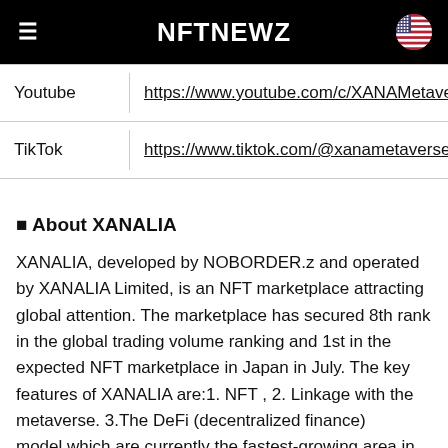NFTNEWZ
|  |  |
| --- | --- |
| Youtube | https://www.youtube.com/c/XANAMetave |
| TikTok | https://www.tiktok.com/@xanametaverse |
■ About XANALIA
XANALIA, developed by NOBORDER.z and operated by XANALIA Limited, is an NFT marketplace attracting global attention. The marketplace has secured 8th rank in the global trading volume ranking and 1st in the expected NFT marketplace in Japan in July. The key features of XANALIA are:1. NFT , 2. Linkage with the metaverse. 3.The DeFi (decentralized finance) model,which are currently the fastest-growing area in the blockchain market. Its diluted potential market capitalisation exceeded $14 billion (about 165 billion